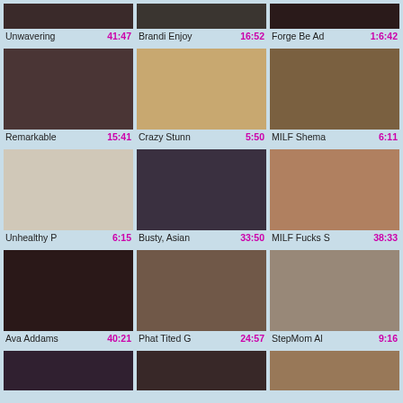[Figure (screenshot): Video thumbnail grid row 1: three adult video thumbnails (partial, top cropped)]
Unwavering  41:47    Brandi Enjoy  16:52    Forge Be Ad  1:6:42
[Figure (screenshot): Video thumbnail grid row 2: three adult video thumbnails]
Remarkable  15:41    Crazy Stunn  5:50    MILF Shema  6:11
[Figure (screenshot): Video thumbnail grid row 3: three adult video thumbnails]
Unhealthy P  6:15    Busty, Asian  33:50    MILF Fucks S  38:33
[Figure (screenshot): Video thumbnail grid row 4: three adult video thumbnails]
Ava Addams  40:21    Phat Tited G  24:57    StepMom Al  9:16
[Figure (screenshot): Video thumbnail grid row 5: three adult video thumbnails (partial, bottom cropped)]